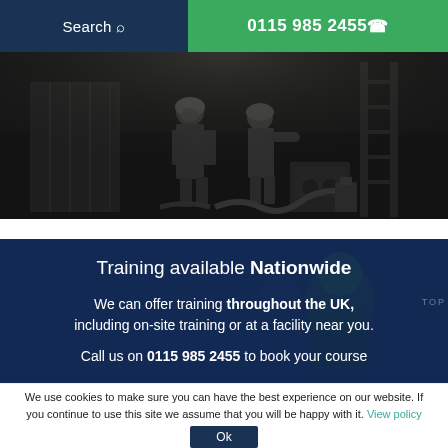Search  0115 985 2455
[Figure (photo): Black and white photograph of workers in protective suits operating equipment in an industrial or underground environment]
Training available Nationwide
We can offer training throughout the UK, including on-site training or at a facility near you.
Call us on 0115 985 2455 to book your course
We use cookies to make sure you can have the best experience on our website. If you continue to use this site we assume that you will be happy with it. View policy
Ok